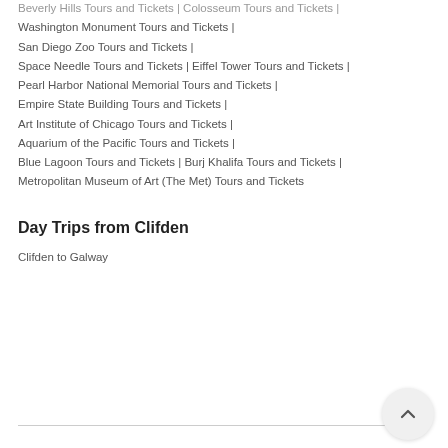Beverly Hills Tours and Tickets | Colosseum Tours and Tickets |
Washington Monument Tours and Tickets |
San Diego Zoo Tours and Tickets |
Space Needle Tours and Tickets | Eiffel Tower Tours and Tickets |
Pearl Harbor National Memorial Tours and Tickets |
Empire State Building Tours and Tickets |
Art Institute of Chicago Tours and Tickets |
Aquarium of the Pacific Tours and Tickets |
Blue Lagoon Tours and Tickets | Burj Khalifa Tours and Tickets |
Metropolitan Museum of Art (The Met) Tours and Tickets
Day Trips from Clifden
Clifden to Galway